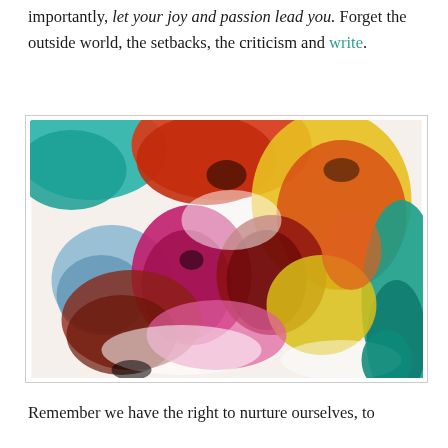importantly, let your joy and passion lead you. Forget the outside world, the setbacks, the criticism and write.
[Figure (illustration): Abstract fluid acrylic pour painting with vibrant swirling colors including red, yellow, teal, magenta, blue, and black on white, creating an energetic chaotic pattern.]
Remember we have the right to nurture ourselves, to